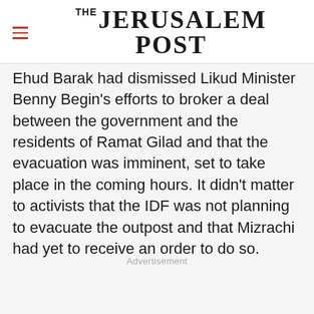THE JERUSALEM POST
Ehud Barak had dismissed Likud Minister Benny Begin's efforts to broker a deal between the government and the residents of Ramat Gilad and that the evacuation was imminent, set to take place in the coming hours. It didn't matter to activists that the IDF was not planning to evacuate the outpost and that Mizrachi had yet to receive an order to do so.
Advertisement